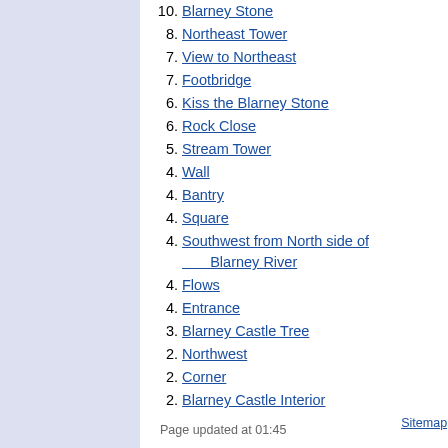10. Blarney Stone
8. Northeast Tower
7. View to Northeast
7. Footbridge
6. Kiss the Blarney Stone
6. Rock Close
5. Stream Tower
4. Wall
4. Bantry
4. Square
4. Southwest from North side of Blarney River
4. Flows
4. Entrance
3. Blarney Castle Tree
2. Northwest
2. Corner
2. Blarney Castle Interior
2. Visitor
2. Approach to Blarney Castle
2. East Wall
Page updated at 01:45   Sitemap | Credits | Terms of use | Get Involved